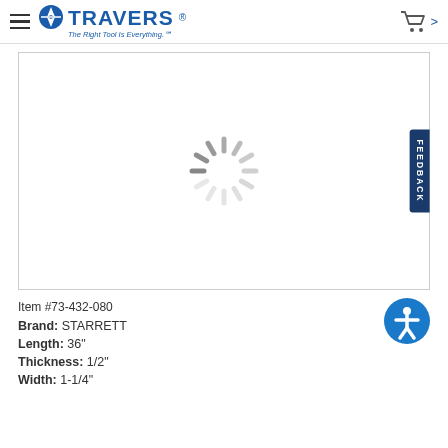TRAVERS - The Right Tool Is Everything.
[Figure (other): Loading spinner (animated loading indicator) shown in product image area]
Item #73-432-080
Brand: STARRETT
Length: 36"
Thickness: 1/2"
Width: 1-1/4"